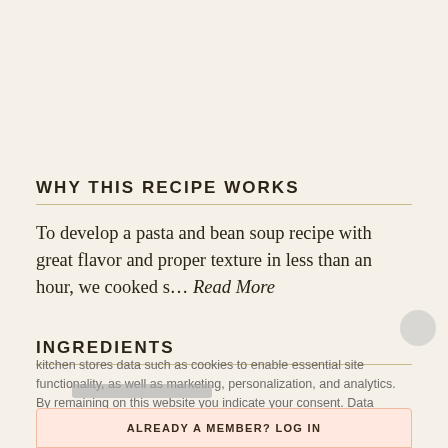WHY THIS RECIPE WORKS
To develop a pasta and bean soup recipe with great flavor and proper texture in less than an hour, we cooked s... Read More
INGREDIENTS
kitchen stores data such as cookies to enable essential site functionality, as well as marketing, personalization, and analytics. By remaining on this website you indicate your consent. Data Storage Policy
ALREADY A MEMBER? LOG IN